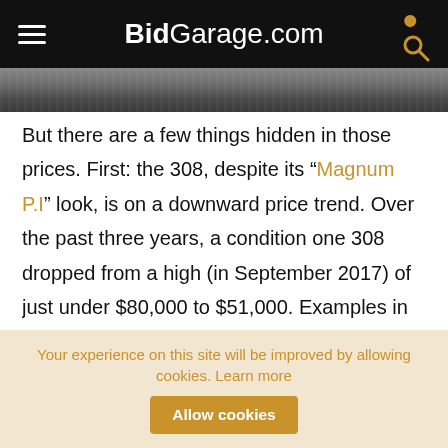BidGarage.com
[Figure (photo): Partial view of a dark metallic surface, likely a car body panel]
But there are a few things hidden in those prices. First: the 308, despite its “Magnum P.I” look, is on a downward price trend. Over the past three years, a condition one 308 dropped from a high (in September 2017) of just under $80,000 to $51,000. Examples in lesser condition have experienced similar drops, though the driver-level cars have lost less—almost certainly because they cost less to
Your experience on this site will be improved by allowing cookies. Learn more  Allow cookies